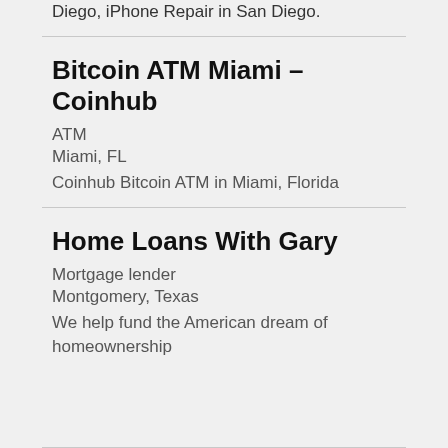The best mobile device repair center in San Diego, iPhone Repair in San Diego.
Bitcoin ATM Miami – Coinhub
ATM
Miami, FL
Coinhub Bitcoin ATM in Miami, Florida
Home Loans With Gary
Mortgage lender
Montgomery, Texas
We help fund the American dream of homeownership